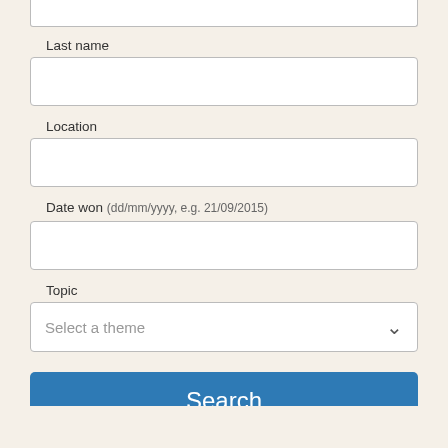Last name
Location
Date won (dd/mm/yyyy, e.g. 21/09/2015)
Topic
Select a theme
Search